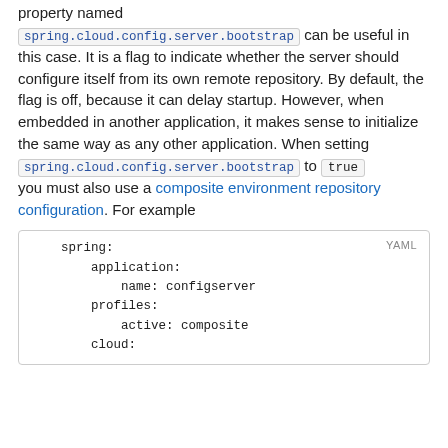property named spring.cloud.config.server.bootstrap can be useful in this case. It is a flag to indicate whether the server should configure itself from its own remote repository. By default, the flag is off, because it can delay startup. However, when embedded in another application, it makes sense to initialize the same way as any other application. When setting spring.cloud.config.server.bootstrap to true you must also use a composite environment repository configuration. For example
[Figure (screenshot): YAML code block showing spring application configuration with name: configserver, profiles active: composite, cloud:]